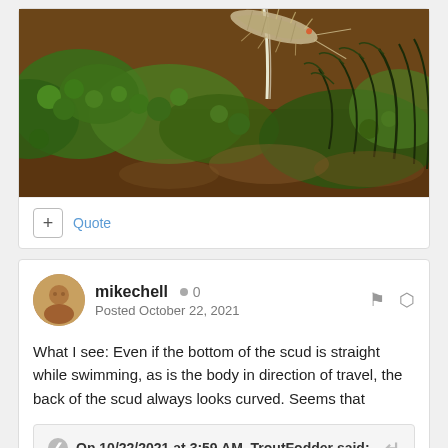[Figure (photo): Close-up macro photograph of an aquatic scud (amphipod crustacean) on green aquatic vegetation/moss against a brownish background]
+ Quote
mikechell  ● 0
Posted October 22, 2021
What I see:  Even if the bottom of the scud is straight while swimming, as is the body in direction of travel, the back of the scud always looks curved.  Seems that
On 10/22/2021 at 3:59 AM, TroutFodder said: